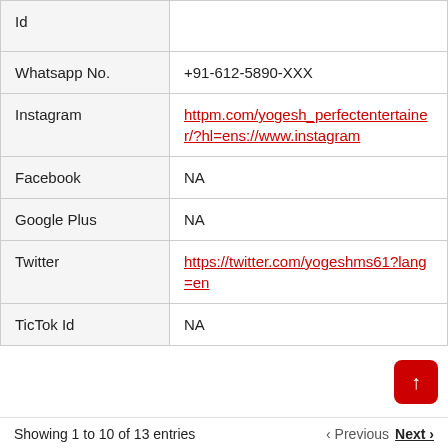| Field | Value |
| --- | --- |
| Id |  |
| Whatsapp No. | +91-612-5890-XXX |
| Instagram | httpm.com/yogesh_perfectentertainer/?hl=ens://www.instagram |
| Facebook | NA |
| Google Plus | NA |
| Twitter | https://twitter.com/yogeshms61?lang=en |
| TicTok Id | NA |
Showing 1 to 10 of 13 entries  ‹ Previous  Next ›